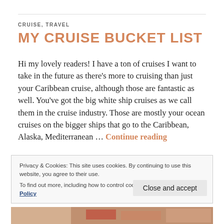CRUISE, TRAVEL
MY CRUISE BUCKET LIST
Hi my lovely readers! I have a ton of cruises I want to take in the future as there's more to cruising than just your Caribbean cruise, although those are fantastic as well. You've got the big white ship cruises as we call them in the cruise industry. Those are mostly your ocean cruises on the bigger ships that go to the Caribbean, Alaska, Mediterranean … Continue reading
Privacy & Cookies: This site uses cookies. By continuing to use this website, you agree to their use.
To find out more, including how to control cookies, see here: Cookie Policy
Close and accept
[Figure (photo): Bottom strip showing a food photo, partially visible]